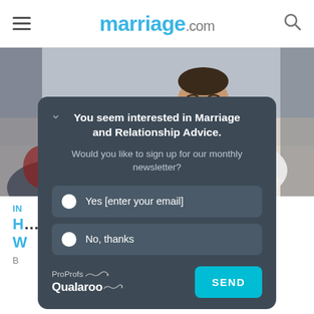marriage.com
[Figure (photo): Two people, a man in a white shirt leaning forward looking concerned, and another person with dark curly hair, lying down]
In
H... d: 10 W...
B...
[Figure (screenshot): Modal popup overlay with dark background. Heading: You seem interested in Marriage and Relationship Advice. Subtext: Would you like to sign up for our monthly newsletter? Radio options: Yes [enter your email], No, thanks. Footer: ProProfs Qualaroo logo and SEND button.]